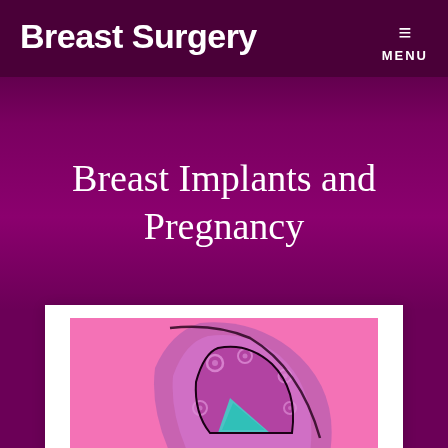Breast Surgery
Breast Implants and Pregnancy
[Figure (illustration): Medical illustration of a breast implant cross-section on a pink background, showing a purple/magenta implant shape with circular markings and a teal/turquoise triangular area visible at the bottom center]